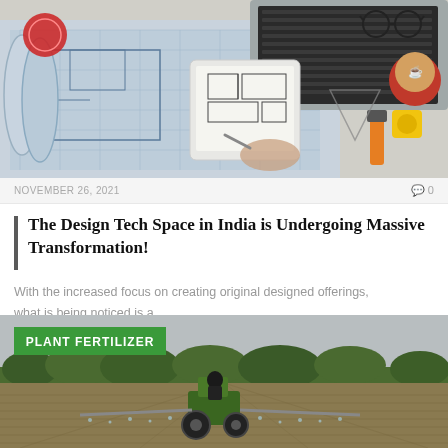[Figure (photo): Overhead view of a design workspace with blueprints, a laptop, a tablet showing floor plans, tools, and a coffee cup]
NOVEMBER 26, 2021
0
The Design Tech Space in India is Undergoing Massive Transformation!
With the increased focus on creating original designed offerings, what is being noticed is a…
[Figure (photo): Agricultural field with a tractor spraying fertilizer, trees in background, overcast sky. Green label reading PLANT FERTILIZER in top-left corner.]